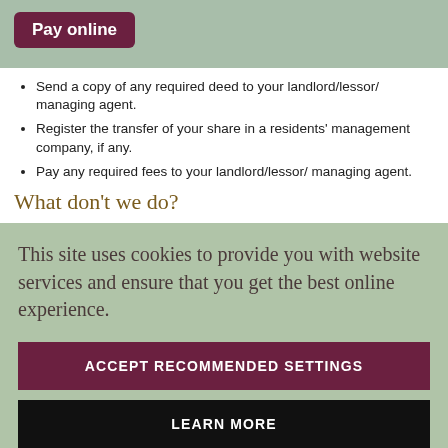Pay online
Send a copy of any required deed to your landlord/lessor/ managing agent.
Register the transfer of your share in a residents' management company, if any.
Pay any required fees to your landlord/lessor/ managing agent.
What don't we do?
This site uses cookies to provide you with website services and ensure that you get the best online experience.
ACCEPT RECOMMENDED SETTINGS
LEARN MORE